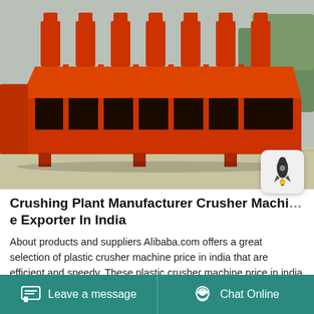[Figure (photo): Orange industrial crushing plant / crusher machine with multiple vertical mixer heads on a large red/orange rectangular base, photographed in a factory or outdoor setting.]
Crushing Plant Manufacturer Crusher Machine Exporter In India
About products and suppliers Alibaba.com offers a great selection of plastic crusher machine price in india that are efficient and speedy. These plastic crusher machine price in india are from
Leave a message   Chat Online